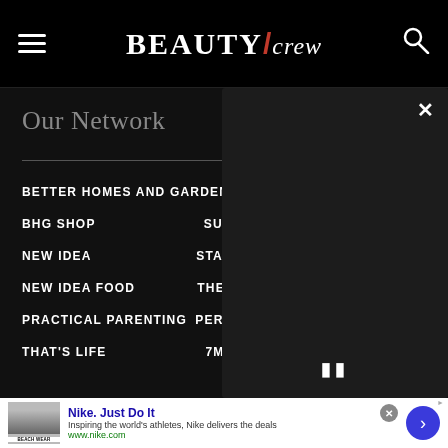BEAUTY/crew
Our Network
BETTER HOMES AND GARDENS   7NE...
BHG SHOP   SUN...
NEW IDEA   STAR...
NEW IDEA FOOD   THE ...
PRACTICAL PARENTING   PERT...
THAT'S LIFE   7MA...
[Figure (screenshot): Dark video overlay popup with close X button and pause button]
Nike. Just Do It
Inspiring the world's athletes, Nike delivers the deals
www.nike.com